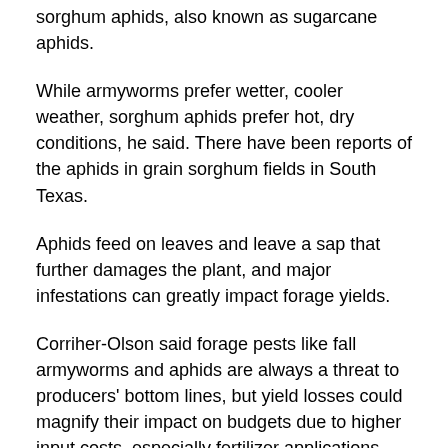sorghum aphids, also known as sugarcane aphids.
While armyworms prefer wetter, cooler weather, sorghum aphids prefer hot, dry conditions, he said. There have been reports of the aphids in grain sorghum fields in South Texas.
Aphids feed on leaves and leave a sap that further damages the plant, and major infestations can greatly impact forage yields.
Corriher-Olson said forage pests like fall armyworms and aphids are always a threat to producers' bottom lines, but yield losses could magnify their impact on budgets due to higher input costs, especially fertilizer applications.
Many forage producers are forgoing or reducing fertilizer applications, which could impact where infestations build,